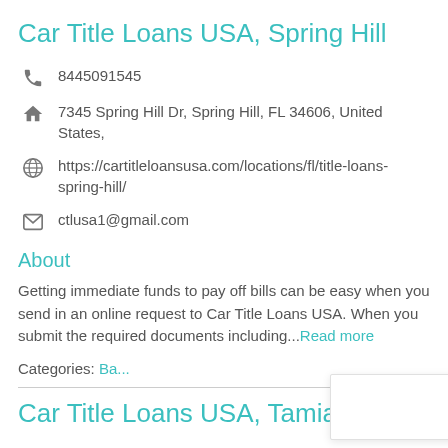Car Title Loans USA, Spring Hill
8445091545
7345 Spring Hill Dr, Spring Hill, FL 34606, United States,
https://cartitleloansusa.com/locations/fl/title-loans-spring-hill/
ctlusa1@gmail.com
About
Getting immediate funds to pay off bills can be easy when you send in an online request to Car Title Loans USA. When you submit the required documents including...Read more
Categories: Ba...
Car Title Loans USA, Tamiami